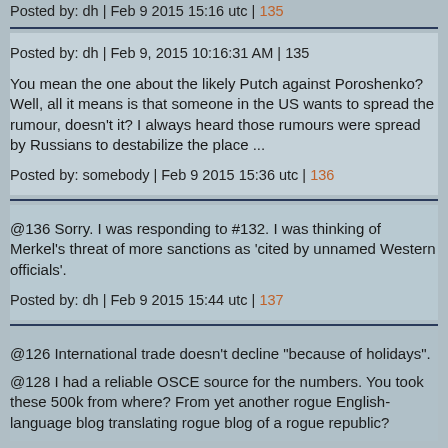Posted by: dh | Feb 9 2015 15:16 utc | 135
Posted by: dh | Feb 9, 2015 10:16:31 AM | 135
You mean the one about the likely Putch against Poroshenko? Well, all it means is that someone in the US wants to spread the rumour, doesn't it? I always heard those rumours were spread by Russians to destabilize the place ...
Posted by: somebody | Feb 9 2015 15:36 utc | 136
@136 Sorry. I was responding to #132. I was thinking of Merkel's threat of more sanctions as 'cited by unnamed Western officials'.
Posted by: dh | Feb 9 2015 15:44 utc | 137
@126 International trade doesn't decline "because of holidays".
@128 I had a reliable OSCE source for the numbers. You took these 500k from where? From yet another rogue English-language blog translating rogue blog of a rogue republic?